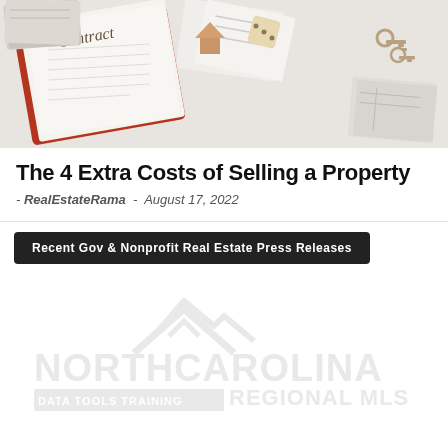[Figure (photo): Overhead photo of a real estate contract on a clipboard with a brown cover, surrounded by scattered papers, a small wooden house figurine, dice, and house keys on a white surface.]
The 4 Extra Costs of Selling a Property
- RealEstateRama - August 17, 2022
[Figure (logo): North Carolina Regional MLS logo with house/mountain icon above text reading NORTHCAROLINA and below DATA TOOLS TRAINING REGIONAL MLS, displayed in light gray watermark style.]